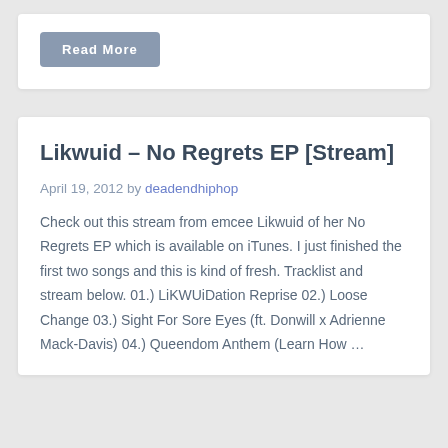Read More
Likwuid – No Regrets EP [Stream]
April 19, 2012 by deadendhiphop
Check out this stream from emcee Likwuid of her No Regrets EP which is available on iTunes. I just finished the first two songs and this is kind of fresh. Tracklist and stream below. 01.) LiKWUiDation Reprise 02.) Loose Change 03.) Sight For Sore Eyes (ft. Donwill x Adrienne Mack-Davis) 04.) Queendom Anthem (Learn How …